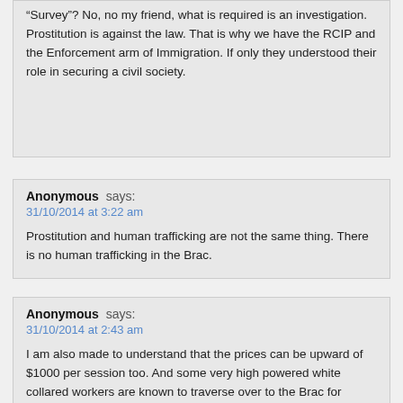“Survey”? No, no my friend, what is required is an investigation. Prostitution is against the law. That is why we have the RCIP and the Enforcement arm of Immigration. If only they understood their role in securing a civil society.
Anonymous says:
31/10/2014 at 3:22 am
Prostitution and human trafficking are not the same thing. There is no human trafficking in the Brac.
Anonymous says:
31/10/2014 at 2:43 am
I am also made to understand that the prices can be upward of $1000 per session too. And some very high powered white collared workers are known to traverse over to the Brac for overnight "meetings". Go figure!